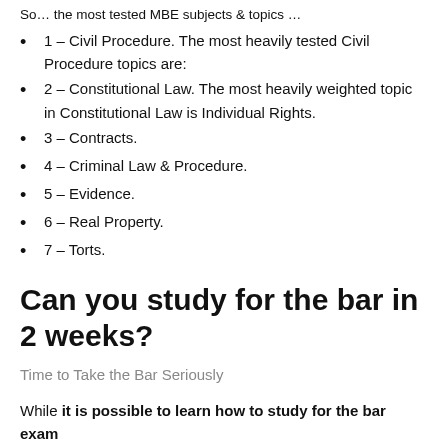So… the most tested MBE subjects & topics …
1 – Civil Procedure. The most heavily tested Civil Procedure topics are:
2 – Constitutional Law. The most heavily weighted topic in Constitutional Law is Individual Rights.
3 – Contracts.
4 – Criminal Law & Procedure.
5 – Evidence.
6 – Real Property.
7 – Torts.
Can you study for the bar in 2 weeks?
Time to Take the Bar Seriously
While it is possible to learn how to study for the bar exam